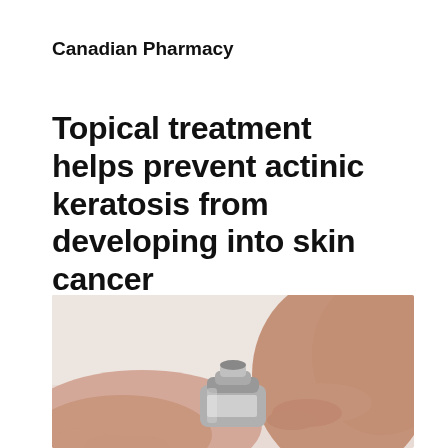Canadian Pharmacy
Topical treatment helps prevent actinic keratosis from developing into skin cancer
[Figure (photo): Close-up photo of hands applying or holding a topical cream tube/dispenser, with a light pinkish background]